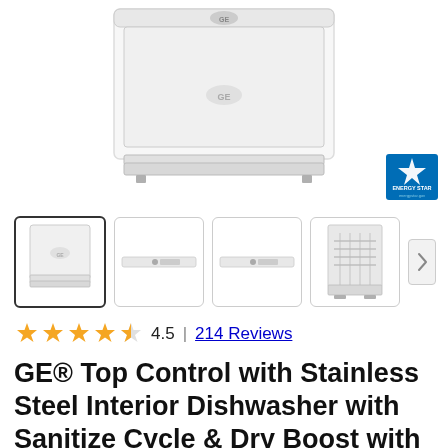[Figure (photo): GE white dishwasher product image, front view, with Energy Star badge in lower right corner]
[Figure (photo): Four product thumbnail images: (1) front view white dishwasher selected, (2) control panel view, (3) another control panel view, (4) open interior rack view. Next arrow button on right.]
4.5 | 214 Reviews
GE® Top Control with Stainless Steel Interior Dishwasher with Sanitize Cycle & Dry Boost with Fan Assist